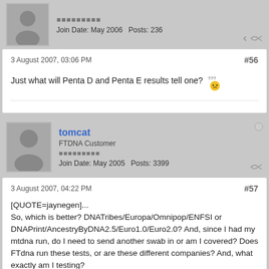Join Date: May 2006   Posts: 236
3 August 2007, 03:06 PM
#56
Just what will Penta D and Penta E results tell one? 🤔
tomcat
FTDNA Customer
Join Date: May 2005   Posts: 3399
3 August 2007, 04:22 PM
#57
[QUOTE=jaynegen]...
So, which is better? DNATribes/Europa/Omnipop/ENFSI or DNAPrint/AncestryByDNA2.5/Euro1.0/Euro2.0? And, since I had my mtdna run, do I need to send another swab in or am I covered? Does FTdna run these tests, or are these different companies? And, what exactly am I testing?
...
I saw that Europa upgrade is $69, does that mean I can just tell ftdna to run that? This is my confusion.
[/QUOTE]